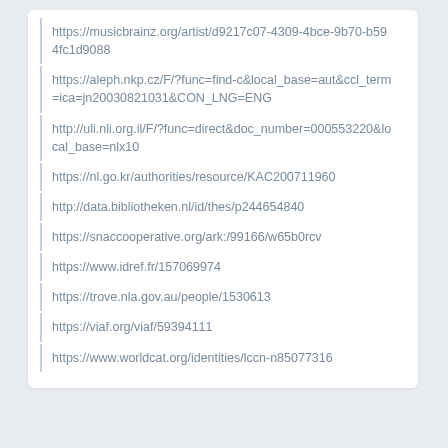https://musicbrainz.org/artist/d9217c07-4309-4bce-9b70-b594fc1d9088
https://aleph.nkp.cz/F/?func=find-c&local_base=aut&ccl_term=ica=jn20030821031&CON_LNG=ENG
http://uli.nli.org.il/F/?func=direct&doc_number=000553220&local_base=nlx10
https://nl.go.kr/authorities/resource/KAC200711960
http://data.bibliotheken.nl/id/thes/p244654840
https://snaccooperative.org/ark:/99166/w65b0rcv
https://www.idref.fr/157069974
https://trove.nla.gov.au/people/1530613
https://viaf.org/viaf/59394111
https://www.worldcat.org/identities/lccn-n85077316